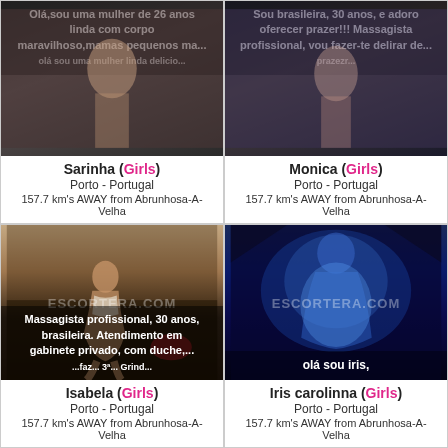[Figure (photo): Card for Sarinha - escort listing with photo background, overlay text describing 26 year old woman with beautiful body]
[Figure (photo): Card for Monica - escort listing with photo background, overlay text describing Brazilian 30 year old professional masseuse]
[Figure (photo): Card for Isabela - escort listing with photo of woman, watermark ESCORTERA.COM, overlay text describing professional masseuse 30 years Brazilian]
[Figure (photo): Card for Iris carolinna - escort listing with blue-lit photo, watermark ESCORTERA.COM, overlay text 'olá sou iris,']